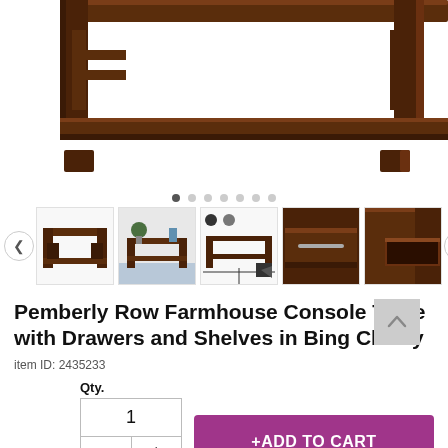[Figure (photo): Top portion of a dark brown wooden console table with shelves (Pemberly Row Farmhouse Console Table in Bing Cherry), showing the tabletop edge and lower shelf on white background.]
[Figure (photo): Row of product thumbnail images showing multiple angles of a dark cherry farmhouse console table with drawers and shelves, with left/right navigation arrows.]
Pemberly Row Farmhouse Console Table with Drawers and Shelves in Bing Cherry
item ID: 2435233
Qty.
+ADD TO CART